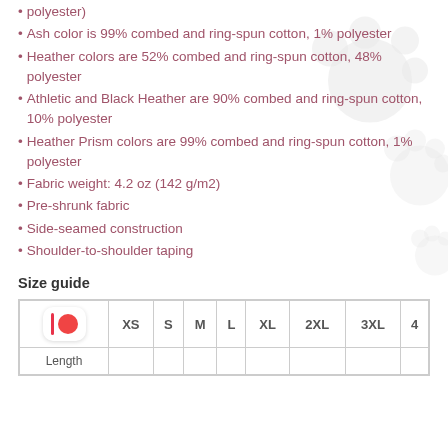polyester)
Ash color is 99% combed and ring-spun cotton, 1% polyester
Heather colors are 52% combed and ring-spun cotton, 48% polyester
Athletic and Black Heather are 90% combed and ring-spun cotton, 10% polyester
Heather Prism colors are 99% combed and ring-spun cotton, 1% polyester
Fabric weight: 4.2 oz (142 g/m2)
Pre-shrunk fabric
Side-seamed construction
Shoulder-to-shoulder taping
Size guide
|  | XS | S | M | L | XL | 2XL | 3XL | 4... |
| --- | --- | --- | --- | --- | --- | --- | --- | --- |
| Length |  |  |  |  |  |  |  |  |